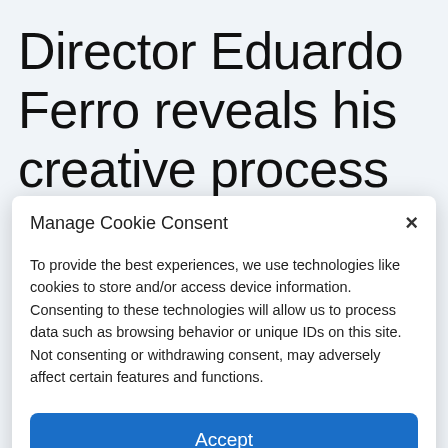Director Eduardo Ferro reveals his creative process and
Manage Cookie Consent
To provide the best experiences, we use technologies like cookies to store and/or access device information. Consenting to these technologies will allow us to process data such as browsing behavior or unique IDs on this site. Not consenting or withdrawing consent, may adversely affect certain features and functions.
Accept